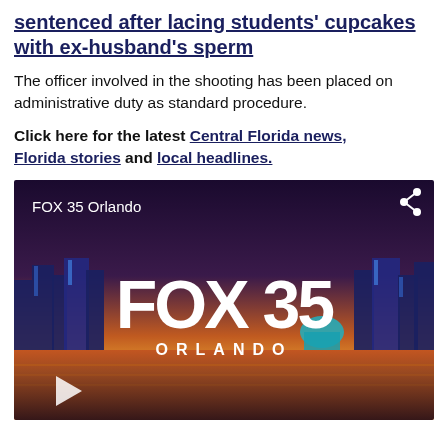sentenced after lacing students' cupcakes with ex-husband's sperm
The officer involved in the shooting has been placed on administrative duty as standard procedure.
Click here for the latest Central Florida news, Florida stories and local headlines.
[Figure (screenshot): FOX 35 Orlando video player thumbnail showing the FOX 35 ORLANDO logo over a city skyline at sunset/dusk with a play button in the bottom left and share icon in the top right.]